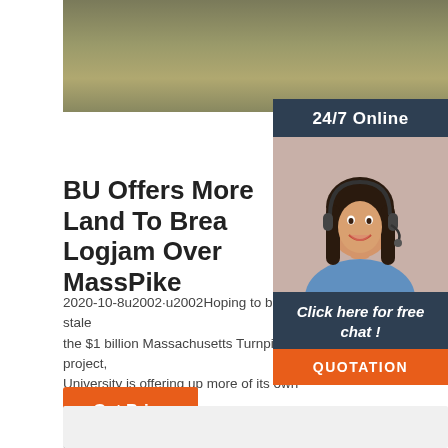[Figure (photo): Top photo of pavement/road surface with tires visible, outdoor scene]
[Figure (infographic): Sidebar: 24/7 Online chat widget with woman wearing headset, 'Click here for free chat!' text, and orange QUOTATION button]
BU Offers More Land To Break Logjam Over MassPike
2020-10-8u2002·u2002Hoping to break a stalemate over the $1 billion Massachusetts Turnpike project, Boston University is offering up more of its own land for … to fit the giant project through a constricted …
Get Price